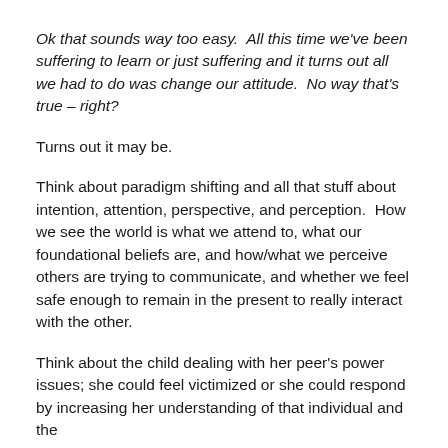Ok that sounds way too easy.  All this time we've been suffering to learn or just suffering and it turns out all we had to do was change our attitude.  No way that's true – right?
Turns out it may be.
Think about paradigm shifting and all that stuff about intention, attention, perspective, and perception.  How we see the world is what we attend to, what our foundational beliefs are, and how/what we perceive others are trying to communicate, and whether we feel safe enough to remain in the present to really interact with the other.
Think about the child dealing with her peer's power issues; she could feel victimized or she could respond by increasing her understanding of that individual and the